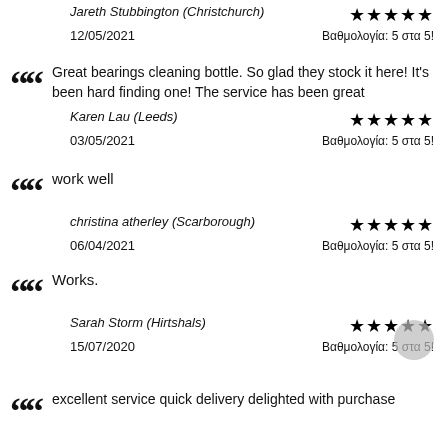Jareth Stubbington (Christchurch)
12/05/2021 — Βαθμολογία: 5 στα 5! ★★★★★
Great bearings cleaning bottle. So glad they stock it here! It's been hard finding one! The service has been great
Karen Lau (Leeds)
03/05/2021 — Βαθμολογία: 5 στα 5! ★★★★★
work well
christina atherley (Scarborough)
06/04/2021 — Βαθμολογία: 5 στα 5! ★★★★★
Works.
Sarah Storm (Hirtshals)
15/07/2020 — Βαθμολογία: 5 στα 5! ★★★★★
excellent service quick delivery delighted with purchase